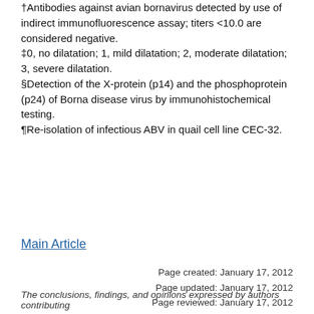†Antibodies against avian bornavirus detected by use of indirect immunofluorescence assay; titers <10.0 are considered negative.
‡0, no dilatation; 1, mild dilatation; 2, moderate dilatation; 3, severe dilatation.
§Detection of the X-protein (p14) and the phosphoprotein (p24) of Borna disease virus by immunohistochemical testing.
¶Re-isolation of infectious ABV in quail cell line CEC-32.
Main Article
Page created: January 17, 2012
Page updated: January 17, 2012
Page reviewed: January 17, 2012
The conclusions, findings, and opinions expressed by authors contributing